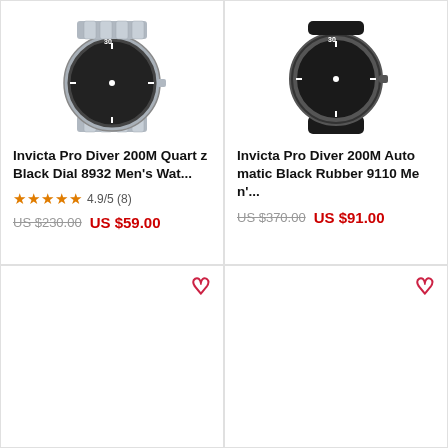[Figure (photo): Invicta Pro Diver watch with silver stainless steel bracelet, black dial, top portion visible]
Invicta Pro Diver 200M Quartz Black Dial 8932 Men's Wat...
★★★★★ 4.9/5 (8)
US $230.00  US $59.00
[Figure (photo): Invicta Pro Diver watch with black rubber strap, black dial, top portion visible]
Invicta Pro Diver 200M Automatic Black Rubber 9110 Men'...
US $370.00  US $91.00
[Figure (other): Empty product card with heart/wishlist icon]
[Figure (other): Empty product card with heart/wishlist icon]